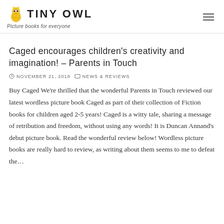TINY OWL — Picture books for everyone
Caged encourages children's creativity and imagination! – Parents in Touch
NOVEMBER 21, 2018   NEWS & REVIEWS
Buy Caged We're thrilled that the wonderful Parents in Touch reviewed our latest wordless picture book Caged as part of their collection of Fiction books for children aged 2-5 years! Caged is a witty tale, sharing a message of retribution and freedom, without using any words! It is Duncan Annand's debut picture book. Read the wonderful review below! Wordless picture books are really hard to review, as writing about them seems to me to defeat the…